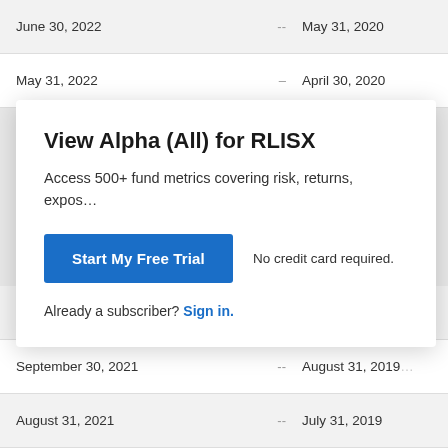| June 30, 2022 | -- | May 31, 2020 |
| May 31, 2022 | -- | April 30, 2020 |
View Alpha (All) for RLISX
Access 500+ fund metrics covering risk, returns, expos…
Start My Free Trial   No credit card required.
Already a subscriber? Sign in.
| October 31, 2021 | -- | September 30, 2… |
| September 30, 2021 | -- | August 31, 2019… |
| August 31, 2021 | -- | July 31, 2019 |